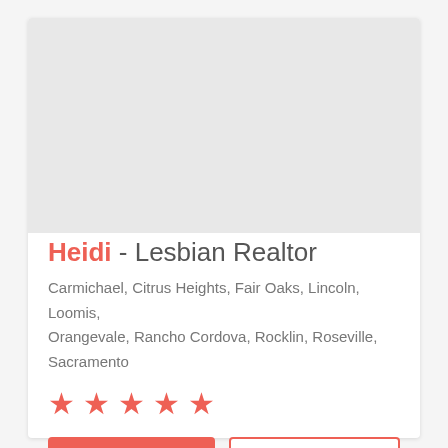[Figure (photo): Profile photo placeholder area (light gray background)]
Heidi - Lesbian Realtor
Carmichael, Citrus Heights, Fair Oaks, Lincoln, Loomis, Orangevale, Rancho Cordova, Rocklin, Roseville, Sacramento
[Figure (other): 5 red star rating icons]
VIEW PROFILE
CONTACT